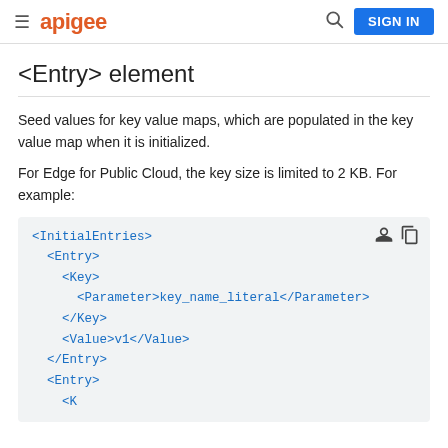≡ apigee  🔍  SIGN IN
<Entry> element
Seed values for key value maps, which are populated in the key value map when it is initialized.
For Edge for Public Cloud, the key size is limited to 2 KB. For example:
[Figure (screenshot): Code block showing XML example with <InitialEntries>, <Entry>, <Key>, <Parameter>key_name_literal</Parameter>, </Key>, <Value>v1</Value>, </Entry>, <Entry>, <Key> elements in blue monospace font on gray background]